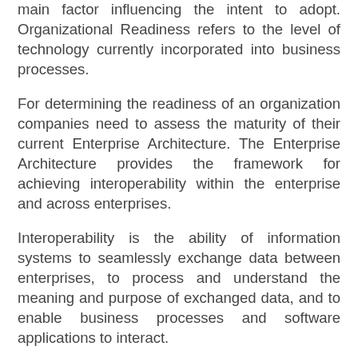main factor influencing the intent to adopt. Organizational Readiness refers to the level of technology currently incorporated into business processes.
For determining the readiness of an organization companies need to assess the maturity of their current Enterprise Architecture. The Enterprise Architecture provides the framework for achieving interoperability within the enterprise and across enterprises.
Interoperability is the ability of information systems to seamlessly exchange data between enterprises, to process and understand the meaning and purpose of exchanged data, and to enable business processes and software applications to interact.
There are different forms (types) of interoperability that strengthen the capabilities of the Enterprise Architecture elements. Two such types of interoperability are directly related to elements of the Enterprise Architecture: * Information Interoperability – Information Architecture – is the ability to exchange information in a uniform manner across multiple organizations as such that the precise